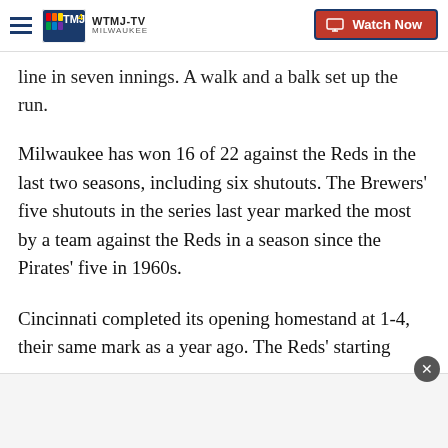WTMJ-TV MILWAUKEE — Watch Now
line in seven innings. A walk and a balk set up the run.
Milwaukee has won 16 of 22 against the Reds in the last two seasons, including six shutouts. The Brewers' five shutouts in the series last year marked the most by a team against the Reds in a season since the Pirates' five in 1960s.
Cincinnati completed its opening homestand at 1-4, their same mark as a year ago. The Reds' starting